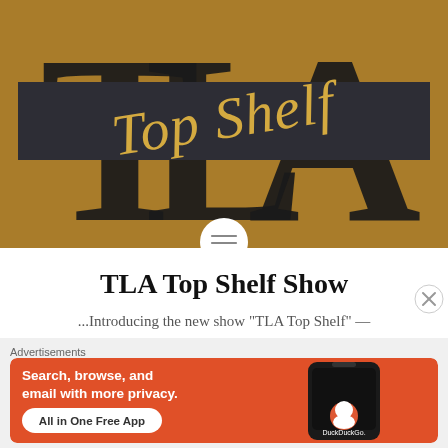[Figure (logo): TLA Top Shelf Show logo: gold background with large serif letters T, L, A overlapping; a dark banner across the middle with gold cursive 'Top Shelf' script text on top; circular menu icon at bottom center]
TLA Top Shelf Show
...Introducing the new show "TLA Top Shelf" — teaser text partially visible...
Advertisements
[Figure (screenshot): DuckDuckGo advertisement banner: orange/red background with white bold text 'Search, browse, and email with more privacy. All in One Free App' with a white pill-shaped CTA button, and a smartphone image on the right showing DuckDuckGo app]